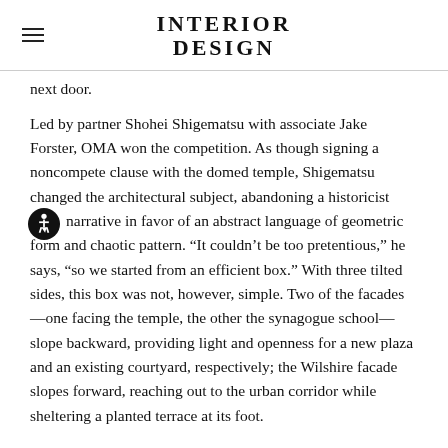INTERIOR DESIGN
next door.
Led by partner Shohei Shigematsu with associate Jake Forster, OMA won the competition. As though signing a noncompete clause with the domed temple, Shigematsu changed the architectural subject, abandoning a historicist narrative in favor of an abstract language of geometric form and chaotic pattern. “It couldn’t be too pretentious,” he says, “so we started from an efficient box.” With three tilted sides, this box was not, however, simple. Two of the facades—one facing the temple, the other the synagogue school—slope backward, providing light and openness for a new plaza and an existing courtyard, respectively; the Wilshire facade slopes forward, reaching out to the urban corridor while sheltering a planted terrace at its foot.